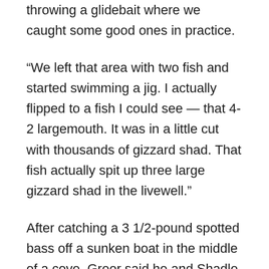throwing a glidebait where we caught some good ones in practice.
“We left that area with two fish and started swimming a jig. I actually flipped to a fish I could see — that 4-2 largemouth. It was in a little cut with thousands of gizzard shad. That fish actually spit up three large gizzard shad in the livewell.”
After catching a 3 1/2-pound spotted bass off a sunken boat in the middle of a cove, Greer said he and Shadle wrapped up their day fishing ledges — a pattern that yielded two final culls.
In addition to the glidebait, Greer and Shadle caught fish on a football jig, a drop shot and